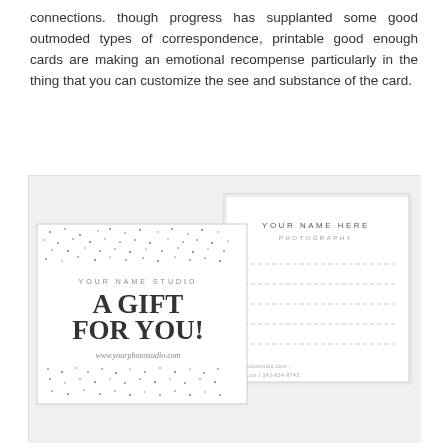connections. though progress has supplanted some good outmoded types of correspondence, printable good enough cards are making an emotional recompense particularly in the thing that you can customize the see and substance of the card.
[Figure (illustration): Two overlapping printable gift cards on a light gray background. The front card (left) shows confetti dot patterns top and bottom, 'YOUR NAME STUDIO' in small caps, 'A GIFT FOR YOU!' in large serif bold text, and 'www.yourphotostudio.com' in italic below. The back card (right, partially behind) shows 'YOUR NAME HERE PHOTOGRAPHY' at top in small caps, dashed horizontal lines in the middle, and small contact info text at the bottom.]